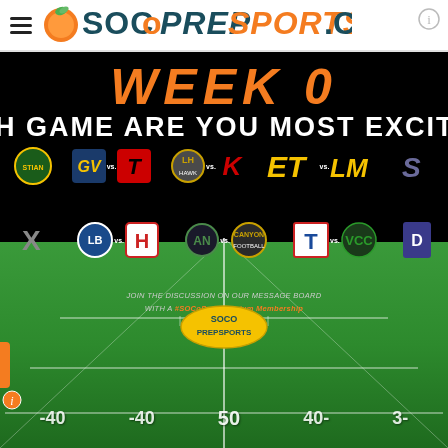[Figure (logo): SOCoPrePSports.com website header logo with orange basketball icon and green leaf, dark teal bold text]
[Figure (infographic): Week 0 football game promotional graphic on black background fading into green football field. Text: WEEK 0 in orange italic, 'WHICH GAME ARE YOU MOST EXCITED A...' in white. Multiple high school team logos shown in two rows with 'vs.' between them. Bottom section shows a football field with yard markers (-40, -40, 50, 40-, 3-) and SOCO PREPSPORTS logo on field. Text: 'JOIN THE DISCUSSION ON OUR MESSAGE BOARD WITH A #SOCoPrePPremium Membership']